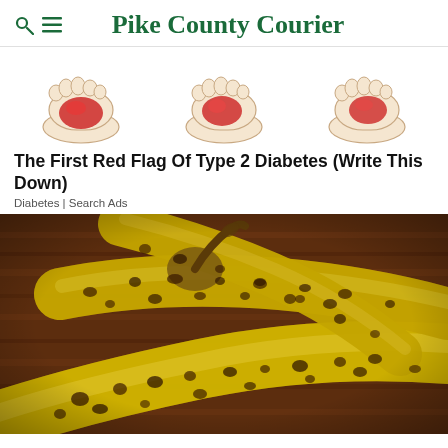Pike County Courier
[Figure (illustration): Three illustrated foot images showing a red inflamed area on the sole, used as ad imagery for a diabetes awareness advertisement]
The First Red Flag Of Type 2 Diabetes (Write This Down)
Diabetes | Search Ads
[Figure (photo): Close-up photograph of overripe bananas with dark brown spots on a wooden surface background]